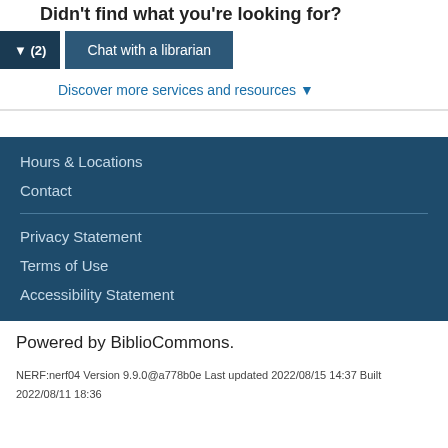Didn't find what you're looking for?
▼ (2)   Chat with a librarian
Discover more services and resources ▼
Hours & Locations
Contact
Privacy Statement
Terms of Use
Accessibility Statement
Powered by BiblioCommons.
NERF:nerf04 Version 9.9.0@a778b0e Last updated 2022/08/15 14:37 Built 2022/08/11 18:36